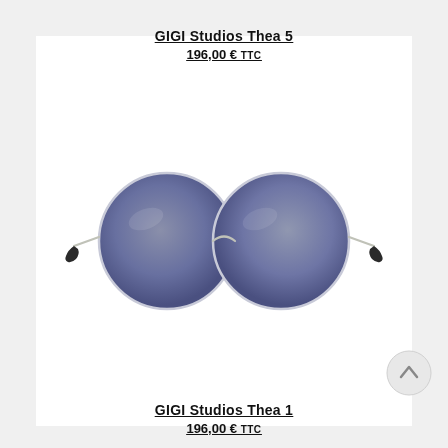GIGI Studios Thea 5
196,00 € TTC
[Figure (photo): Round sunglasses with thin gold metal frame and dark blue-grey gradient lenses, black temples, viewed from the front]
GIGI Studios Thea 1
196,00 € TTC